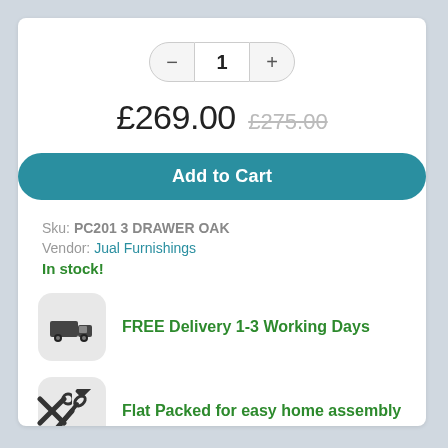1 (quantity selector)
£269.00  £275.00
Add to Cart
Sku: PC201 3 DRAWER OAK
Vendor: Jual Furnishings
In stock!
FREE Delivery 1-3 Working Days
Flat Packed for easy home assembly
[Figure (other): Social share icons: Facebook, Twitter, Google+, Pinterest]